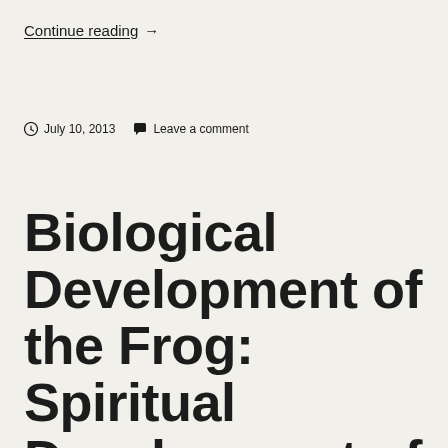Continue reading →
July 10, 2013   Leave a comment
Biological Development of the Frog: Spiritual Development of